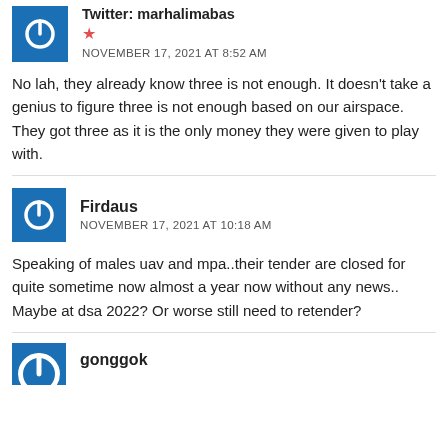[Figure (other): User avatar icon - blue square with white power button symbol]
Twitter: marhalimabas
★ (star rating icon)
NOVEMBER 17, 2021 AT 8:52 AM
No lah, they already know three is not enough. It doesn't take a genius to figure three is not enough based on our airspace. They got three as it is the only money they were given to play with.
[Figure (other): User avatar icon - blue square with white power button symbol]
Firdaus
NOVEMBER 17, 2021 AT 10:18 AM
Speaking of males uav and mpa..their tender are closed for quite sometime now almost a year now without any news.. Maybe at dsa 2022? Or worse still need to retender?
[Figure (other): Partial user avatar icon - blue square with white power button symbol, cropped at bottom]
gonggok (partially visible)